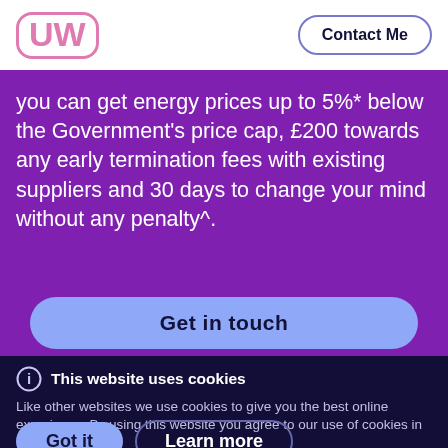[Figure (logo): UW logo in pink/rose color with rounded rectangle border]
Contact Me
you can get energy prices up to 5%* below the Government's price cap, £200 towards any early termination fees with existing suppliers and 30 days to change your mind without any penalty^.
Get in touch
This website uses cookies
Like other websites we use cookies to give you the best online experience. By using this website you agree to our use of cookies in accordance with our cookie policy
Got it
Learn more